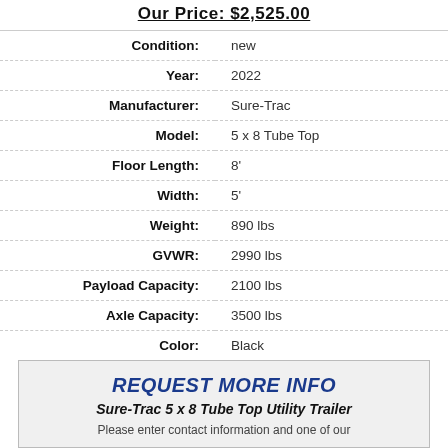Our Price: $2,525.00
| Label | Value |
| --- | --- |
| Condition: | new |
| Year: | 2022 |
| Manufacturer: | Sure-Trac |
| Model: | 5 x 8 Tube Top |
| Floor Length: | 8' |
| Width: | 5' |
| Weight: | 890 lbs |
| GVWR: | 2990 lbs |
| Payload Capacity: | 2100 lbs |
| Axle Capacity: | 3500 lbs |
| Color: | Black |
REQUEST MORE INFO
Sure-Trac 5 x 8 Tube Top Utility Trailer
Please enter contact information and one of our